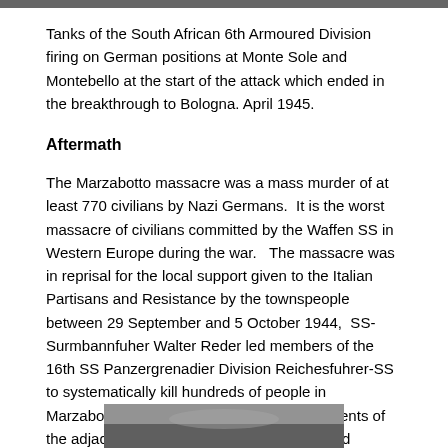[Figure (photo): Top strip of a black and white photograph of tanks]
Tanks of the South African 6th Armoured Division firing on German positions at Monte Sole and Montebello at the start of the attack which ended in the breakthrough to Bologna. April 1945.
Aftermath
The Marzabotto massacre was a mass murder of at least 770 civilians by Nazi Germans.  It is the worst massacre of civilians committed by the Waffen SS in Western Europe during the war.   The massacre was in reprisal for the local support given to the Italian Partisans and Resistance by the townspeople between 29 September and 5 October 1944,  SS-Surmbannfuher Walter Reder led members of the 16th SS Panzergrenadier Division Reichesfuhrer-SS to systematically kill hundreds of people in Marzabotto. They also killed numerous residents of the adjacent villages of Grizzana Morandi and Monzuno.
[Figure (photo): Bottom partial photograph, black and white portrait]